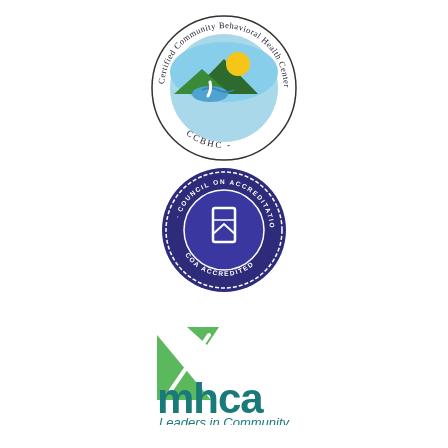[Figure (logo): CCBHC - Certified Community Behavioral Health Center circular logo with landscape imagery (mountains, sun, river) and text around the border]
[Figure (logo): Council on Accreditation - COA Accredited dark blue circular seal/badge logo with bookmark icon in center]
[Figure (logo): MHCA - Leaders in Community logo with green triangle/arrow shape and teal lowercase text]